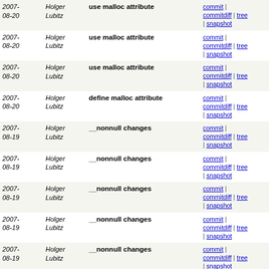| Date | Author | Message | Links |
| --- | --- | --- | --- |
| 2007-08-20 | Holger Lubitz | use malloc attribute | commit | commitdiff | tree | snapshot |
| 2007-08-20 | Holger Lubitz | use malloc attribute | commit | commitdiff | tree | snapshot |
| 2007-08-20 | Holger Lubitz | use malloc attribute | commit | commitdiff | tree | snapshot |
| 2007-08-20 | Holger Lubitz | define malloc attribute | commit | commitdiff | tree | snapshot |
| 2007-08-19 | Holger Lubitz | __nonnull changes | commit | commitdiff | tree | snapshot |
| 2007-08-19 | Holger Lubitz | __nonnull changes | commit | commitdiff | tree | snapshot |
| 2007-08-19 | Holger Lubitz | __nonnull changes | commit | commitdiff | tree | snapshot |
| 2007-08-19 | Holger Lubitz | __nonnull changes | commit | commitdiff | tree | snapshot |
| 2007-08-19 | Holger Lubitz | __nonnull changes | commit | commitdiff | tree | snapshot |
| 2007-08-19 | Holger Lubitz | __nonnull changes | commit | commitdiff | tree | snapshot |
| 2007-08-19 | Holger Lubitz | __nonnull changes | commit | commitdiff | tree | snapshot |
| 2007-08-19 | Holger Lubitz | __nonnull changes | commit | commitdiff | tree | snapshot |
| 2007-08-19 | Holger Lubitz | __nonnull changes | commit | commitdiff | tree | snapshot |
| 2007-08-19 | Holger Lubitz | __nonnull changes | commit | commitdiff | tree | snapshot |